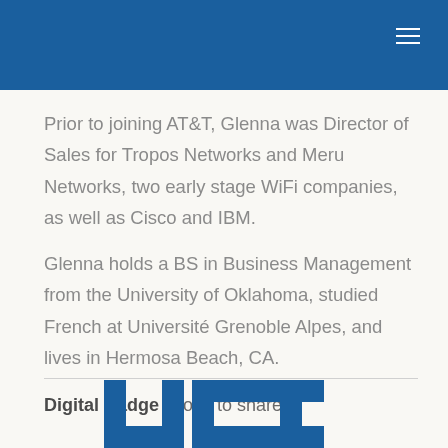Prior to joining AT&T, Glenna was Director of Sales for Tropos Networks and Meru Networks, two early stage WiFi companies, as well as Cisco and IBM.
Glenna holds a BS in Business Management from the University of Oklahoma, studied French at Université Grenoble Alpes, and lives in Hermosa Beach, CA.
Digital Badge (Copy to share)
[Figure (logo): UCI logo in dark blue letters at bottom of page]